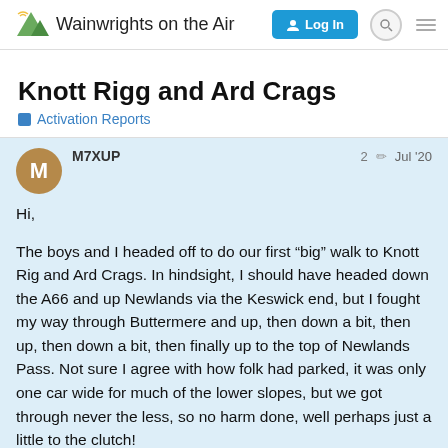Wainwrights on the Air — Log In
Knott Rigg and Ard Crags
Activation Reports
M7XUP  2  Jul '20
Hi,

The boys and I headed off to do our first “big” walk to Knott Rig and Ard Crags. In hindsight, I should have headed down the A66 and up Newlands via the Keswick end, but I fought my way through Buttermere and up, then down a bit, then up, then down a bit, then finally up to the top of Newlands Pass. Not sure I agree with how folk had parked, it was only one car wide for much of the lower slopes, but we got through never the less, so no harm done, well perhaps just a little to the clutch!

We set off a little earlier than I expected, a
1 / 3